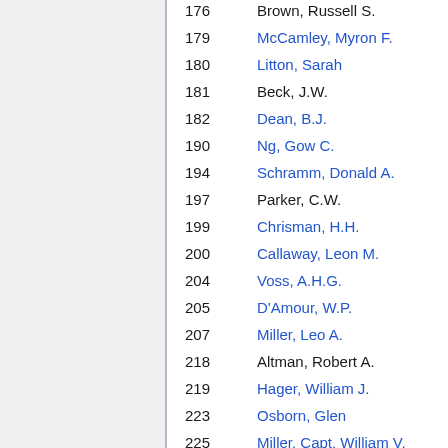176  Brown, Russell S.
179  McCamley, Myron F.
180  Litton, Sarah
181  Beck, J.W.
182  Dean, B.J.
190  Ng, Gow C.
194  Schramm, Donald A.
197  Parker, C.W.
199  Chrisman, H.H.
200  Callaway, Leon M.
204  Voss, A.H.G.
205  D'Amour, W.P.
207  Miller, Leo A.
218  Altman, Robert A.
219  Hager, William J.
223  Osborn, Glen
225  Miller, Capt. William V.